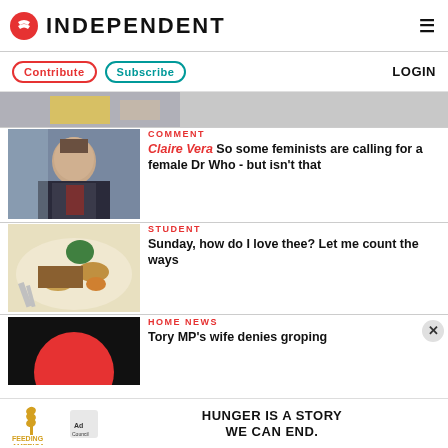INDEPENDENT
[Figure (screenshot): Partial thumbnail of article at top]
[Figure (photo): Photo of a man in suit (Matt Smith as Dr Who)]
COMMENT
Claire Vera So some feminists are calling for a female Dr Who - but isn't that
[Figure (photo): Photo of a Sunday roast meal with meat, potatoes, vegetables]
STUDENT
Sunday, how do I love thee? Let me count the ways
[Figure (photo): Partial photo - dark with red circle (record)]
HOME NEWS
Tory MP's wife denies groping
[Figure (infographic): Feeding America Ad Council advertisement - HUNGER IS A STORY WE CAN END.]